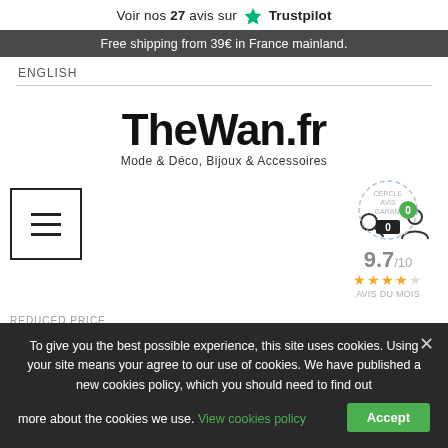Voir nos 27 avis sur ★ Trustpilot
Free shipping from 39€ in France mainland.
ENGLISH
[Figure (logo): TheWan.fr logo with tagline 'Mode & Déco, Bijoux & Accessoires']
[Figure (screenshot): Navigation bar with hamburger menu button, search icon, user icon, and a trust badge showing 9.7/10 with 4 stars]
REDUCED PRICE
To give you the best possible experience, this site uses cookies. Using your site means your agree to our use of cookies. We have published a new cookies policy, which you should need to find out more about the cookies we use. View cookies policy Accept